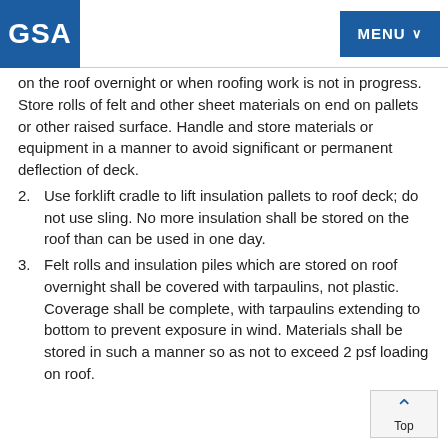GSA | MENU
on the roof overnight or when roofing work is not in progress. Store rolls of felt and other sheet materials on end on pallets or other raised surface. Handle and store materials or equipment in a manner to avoid significant or permanent deflection of deck.
2. Use forklift cradle to lift insulation pallets to roof deck; do not use sling. No more insulation shall be stored on the roof than can be used in one day.
3. Felt rolls and insulation piles which are stored on roof overnight shall be covered with tarpaulins, not plastic. Coverage shall be complete, with tarpaulins extending to bottom to prevent exposure in wind. Materials shall be stored in such a manner so as not to exceed 2 psf loading on roof.